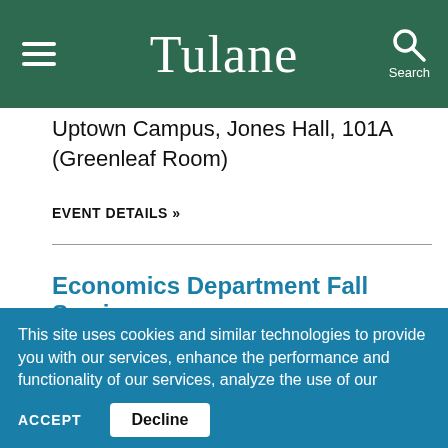Tulane
Uptown Campus, Jones Hall, 101A (Greenleaf Room)
EVENT DETAILS »
Economics Department Fall Seminar
This site uses cookies and similar technologies to provide you with our services, enhance the performance and functionality of our services, analyze the use of our products and services, and assist with our advertising and marketing efforts.  Privacy Notice  GDPR Privacy Policy
ACCEPT  Decline